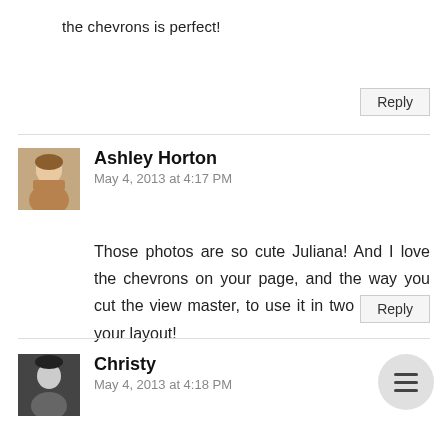the chevrons is perfect!
Reply
Ashley Horton
May 4, 2013 at 4:17 PM
Those photos are so cute Juliana! And I love the chevrons on your page, and the way you cut the view master, to use it in two places on your layout!
Reply
Christy
May 4, 2013 at 4:18 PM
I just LOOOVE the stitched chevrons!